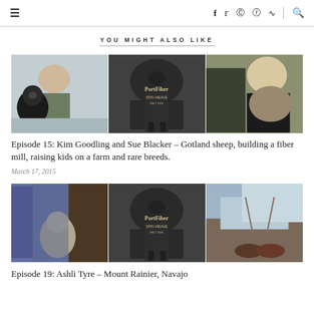≡  f  t  [instagram]  [pinterest]  [rss]  [search]
YOU MIGHT ALSO LIKE
[Figure (photo): Three-panel image strip: woman with black and white dog in snow, PortFiber spin weave felting sign shaped like a sheep, woman with sheep outdoors]
Episode 15: Kim Goodling and Sue Blacker – Gotland sheep, building a fiber mill, raising kids on a farm and rare breeds.
March 17, 2015
[Figure (photo): Three-panel image strip: woman sitting cross-legged in front of woven tapestry, PortFiber spin weave felting sign shaped like a sheep, person's feet in boots with mountains in background]
Episode 19: Ashli Tyre – Mount Rainier, Navajo